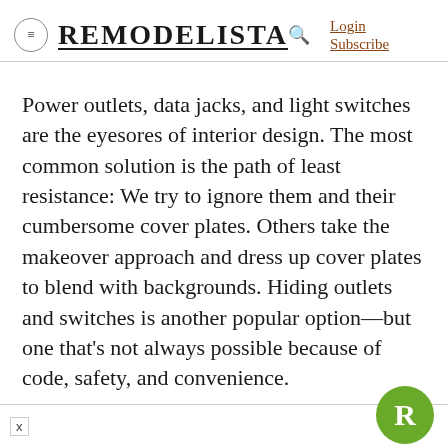REMODELISTA  Login  Subscribe
Power outlets, data jacks, and light switches are the eyesores of interior design. The most common solution is the path of least resistance: We try to ignore them and their cumbersome cover plates. Others take the makeover approach and dress up cover plates to blend with backgrounds. Hiding outlets and switches is another popular option—but one that's not always possible because of code, safety, and convenience.